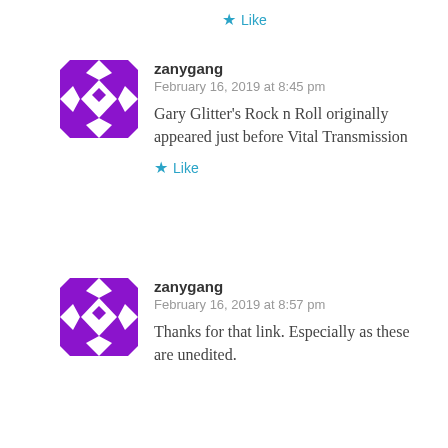Like
[Figure (illustration): Purple and white geometric diamond/arrow pattern avatar for user zanygang]
zanygang
February 16, 2019 at 8:45 pm
Gary Glitter's Rock n Roll originally appeared just before Vital Transmission
Like
[Figure (illustration): Purple and white geometric diamond/arrow pattern avatar for user zanygang]
zanygang
February 16, 2019 at 8:57 pm
Thanks for that link. Especially as these are unedited.